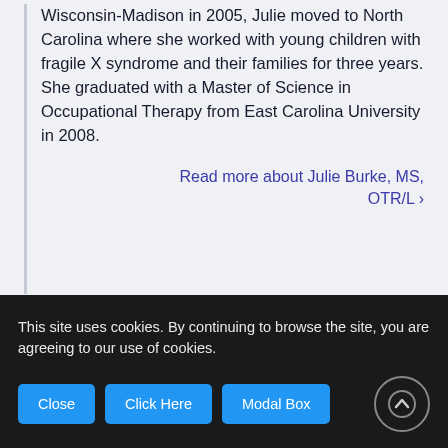Wisconsin-Madison in 2005, Julie moved to North Carolina where she worked with young children with fragile X syndrome and their families for three years. She graduated with a Master of Science in Occupational Therapy from East Carolina University in 2008.

Read more about Julie Burke, MS, OTR/L ›
Laura Carr MS, CCC–SLP
This site uses cookies. By continuing to browse the site, you are agreeing to our use of cookies.